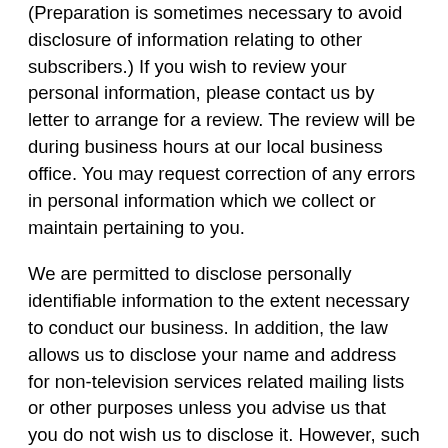(Preparation is sometimes necessary to avoid disclosure of information relating to other subscribers.) If you wish to review your personal information, please contact us by letter to arrange for a review. The review will be during business hours at our local business office. You may request correction of any errors in personal information which we collect or maintain pertaining to you.
We are permitted to disclose personally identifiable information to the extent necessary to conduct our business. In addition, the law allows us to disclose your name and address for non-television services related mailing lists or other purposes unless you advise us that you do not wish us to disclose it. However, such disclosures of names and addresses may not be in a form that discloses the extent of viewing or other use you make of any service we provide, nor may it disclose the nature of any transaction you make over a two-way